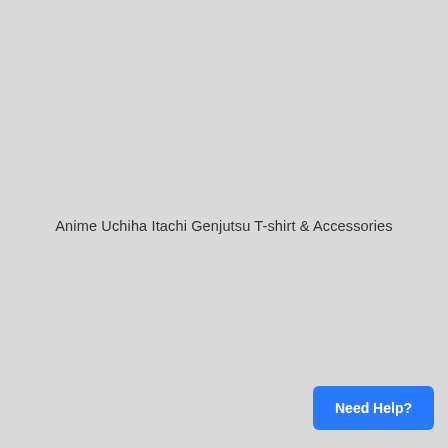Anime Uchiha Itachi Genjutsu T-shirt & Accessories
Need Help?